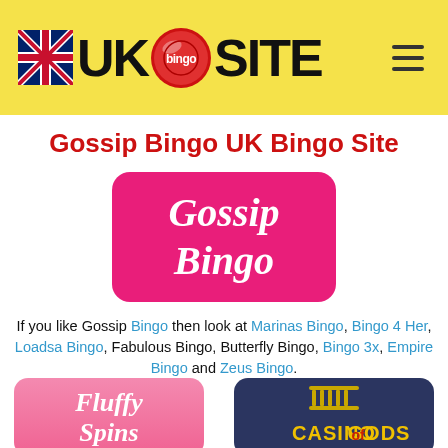UK bingo SITE (logo with UK flag and bingo ball)
Gossip Bingo UK Bingo Site
[Figure (logo): Gossip Bingo logo — white italic text on pink/magenta rounded rectangle background]
If you like Gossip Bingo then look at Marinas Bingo, Bingo 4 Her, Loadsa Bingo, Fabulous Bingo, Butterfly Bingo, Bingo 3x, Empire Bingo and Zeus Bingo.
[Figure (logo): Fluffy Spins logo — white italic text on pink gradient rounded rectangle background]
[Figure (logo): Casino Gods logo — golden stylized text on dark navy rounded rectangle background with temple/pillar icon]